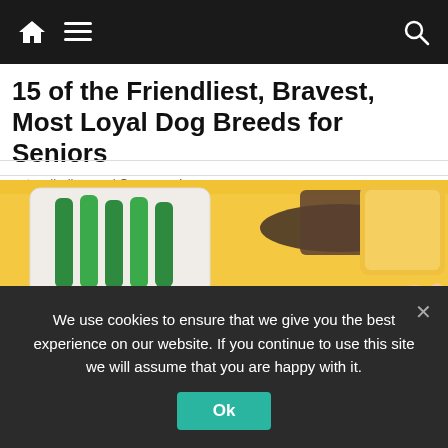Navigation bar with home, menu, and search icons
15 of the Friendliest, Bravest, Most Loyal Dog Breeds for Seniors
petsvalhalla.com | Sponsored
[Figure (illustration): Anime-style illustration of a hand holding a spoon over a bowl of soup with star-shaped ingredients, a bowl of rice on the left, green vegetables in a white dish, and a yellow tablecloth background.]
We use cookies to ensure that we give you the best experience on our website. If you continue to use this site we will assume that you are happy with it.